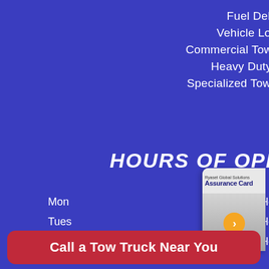Fuel Delivery
Vehicle Lock-Out
Commercial Towing Services
Heavy Duty Towing
Specialized Towing Services
HOURS OF OPERATION
| Day | Hours |
| --- | --- |
| Mon | Open 24 Hours |
| Tues | Open 24 Hours |
| Wed | Open 24 Hours |
[Figure (other): Ryaset Global Solutions Assurance Card with orange arrow button]
Call a Tow Truck Near You